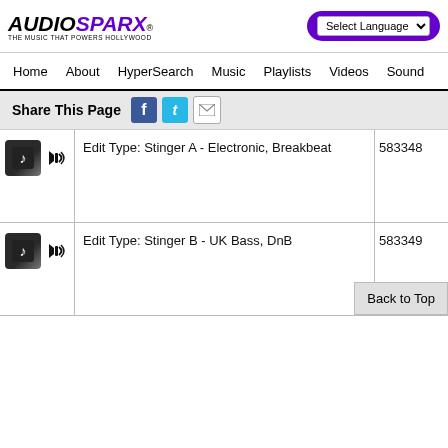[Figure (logo): AudioSparx logo with tagline 'THE MUSIC THAT POWERS HOLLYWOOD']
Select Language dropdown, navigation: Home, About, HyperSearch, Music, Playlists, Videos, Sound
Share This Page
Edit Type: Stinger A - Electronic, Breakbeat  583348
Edit Type: Stinger B - UK Bass, DnB  583349
Back to Top